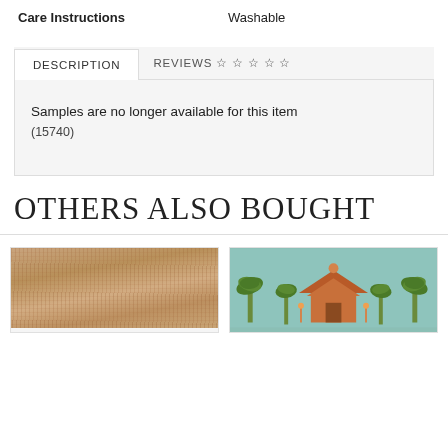| Care Instructions |  |
| --- | --- |
| Care Instructions | Washable |
DESCRIPTION
REVIEWS ☆ ☆ ☆ ☆ ☆
Samples are no longer available for this item
(15740)
OTHERS ALSO BOUGHT
[Figure (photo): Grasscloth texture wallpaper sample — horizontal woven pattern in tan, brown, and rust tones]
[Figure (photo): Tropical palm tree and pagoda pattern wallpaper on light blue/teal background with orange and green motifs]